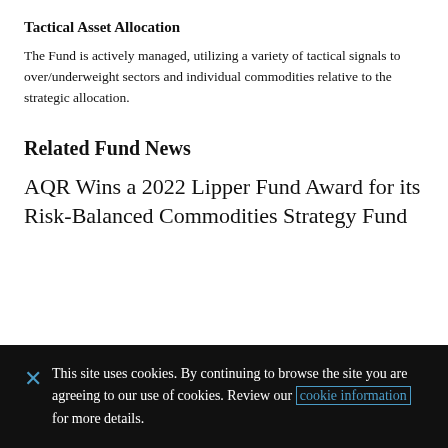Tactical Asset Allocation
The Fund is actively managed, utilizing a variety of tactical signals to over/underweight sectors and individual commodities relative to the strategic allocation.
Related Fund News
AQR Wins a 2022 Lipper Fund Award for its Risk-Balanced Commodities Strategy Fund
This site uses cookies. By continuing to browse the site you are agreeing to our use of cookies. Review our cookie information for more details.